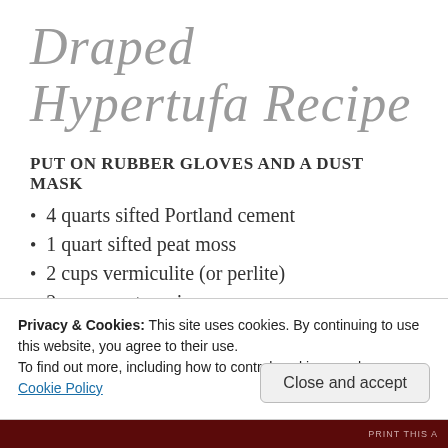Draped Hypertufa Recipe
PUT ON RUBBER GLOVES AND A DUST MASK
4 quarts sifted Portland cement
1 quart sifted peat moss
2 cups vermiculite (or perlite)
2 cups mortar mix
Privacy & Cookies: This site uses cookies. By continuing to use this website, you agree to their use.
To find out more, including how to control cookies, see here:
Cookie Policy
Close and accept